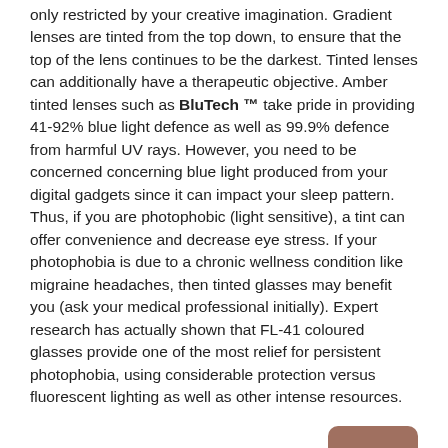only restricted by your creative imagination. Gradient lenses are tinted from the top down, to ensure that the top of the lens continues to be the darkest. Tinted lenses can additionally have a therapeutic objective. Amber tinted lenses such as BluTech ™ take pride in providing 41-92% blue light defence as well as 99.9% defence from harmful UV rays. However, you need to be concerned concerning blue light produced from your digital gadgets since it can impact your sleep pattern. Thus, if you are photophobic (light sensitive), a tint can offer convenience and decrease eye stress. If your photophobia is due to a chronic wellness condition like migraine headaches, then tinted glasses may benefit you (ask your medical professional initially). Expert research has actually shown that FL-41 coloured glasses provide one of the most relief for persistent photophobia, using considerable protection versus fluorescent lighting as well as other intense resources.
Check out these tinted glasses with a stylish frame: